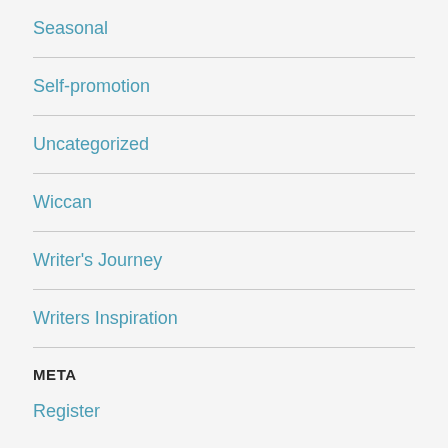Seasonal
Self-promotion
Uncategorized
Wiccan
Writer's Journey
Writers Inspiration
META
Register